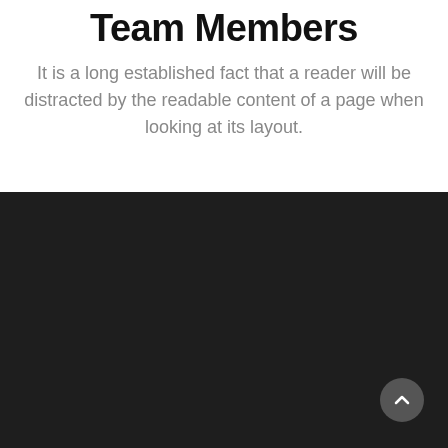Team Members
It is a long established fact that a reader will be distracted by the readable content of a page when looking at its layout.
[Figure (other): Dark background section with a circular scroll-to-top button in the bottom right corner containing an upward chevron arrow icon.]